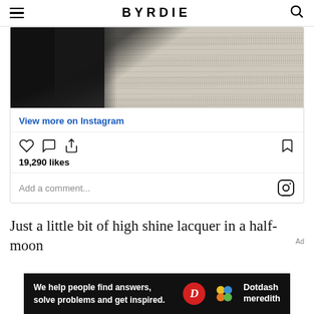BYRDIE
[Figure (screenshot): Instagram embed showing a close-up photo of a cream/beige ribbed knit sweater against a dark background, with View more on Instagram link, heart/comment/share icons, 19,290 likes, and Add a comment field with Instagram logo]
Just a little bit of high shine lacquer in a half-moon
[Figure (infographic): Dotdash Meredith advertisement banner: 'We help people find answers, solve problems and get inspired.' with Dotdash Meredith logo]